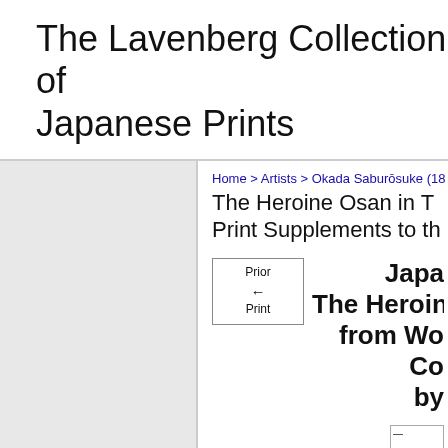The Lavenberg Collection of Japanese Prints
Home > Artists > Okada Saburōsuke (18...
The Heroine Osan in T... Print Supplements to th...
[Figure (other): Prior Print navigation button with left arrow]
Japa... The Heroin... from Wo... Co... by ...
[Figure (other): Small thumbnail image placeholder]